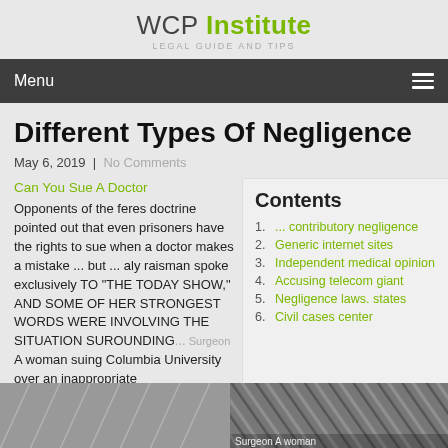WCP Institute
LEGAL GUIDE AND TIPS
Different Types Of Negligence
May 6, 2019  |  No Comments
Can You Sue A Doctor
Opponents of the feres doctrine pointed out that even prisoners have the rights to sue when a doctor makes a mistake ... but ... aly raisman spoke exclusively TO "THE TODAY SHOW," AND SOME OF HER STRONGEST WORDS WERE INVOLVING THE SITUATION SUROUNDING... A woman suing Columbia University over an inappropriate
Contents
1. ... contributory negligence
2. Generic internet sites
3. Independent medical opinion
4. Accusing telecom giant
5. Negligence laws. states
6. Civil cases center